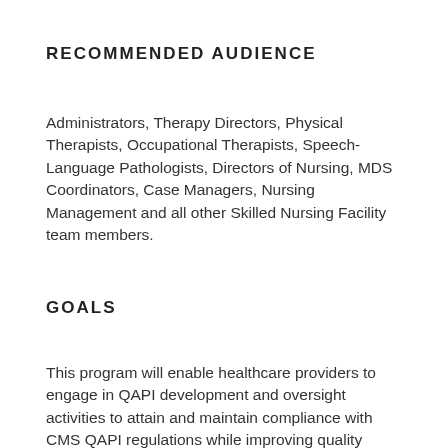RECOMMENDED AUDIENCE
Administrators, Therapy Directors, Physical Therapists, Occupational Therapists, Speech-Language Pathologists, Directors of Nursing, MDS Coordinators, Case Managers, Nursing Management and all other Skilled Nursing Facility team members.
GOALS
This program will enable healthcare providers to engage in QAPI development and oversight activities to attain and maintain compliance with CMS QAPI regulations while improving quality healthcare delivery and improving residents’ quality of